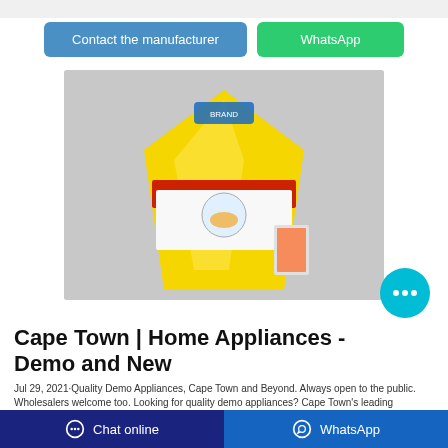Contact the manufacturer
WhatsApp
[Figure (photo): Yellow packaged product (cleaning/food product in a yellow plastic bag) photographed against a grey background. The package has a colorful label with text and imagery.]
Cape Town | Home Appliances - Demo and New
Jul 29, 2021·Quality Demo Appliances, Cape Town and Beyond. Always open to the public. Wholesalers welcome too. Looking for quality demo appliances? Cape Town's leading
Chat online   WhatsApp